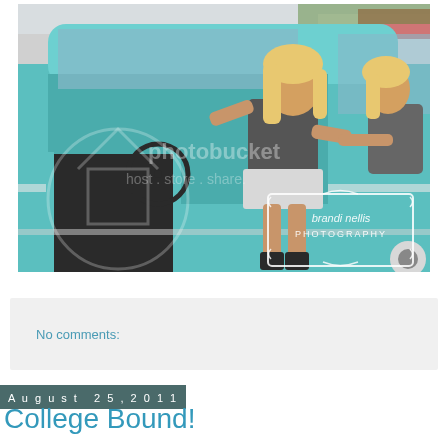[Figure (photo): Two young blonde women in a vintage teal/turquoise classic car from the 1950s. One woman is sitting in the driver's seat laughing, the other is leaning from the passenger side. The car door is open. A watermark reads 'photobucket host. store. share.' and a logo reads 'brandi nellis PHOTOGRAPHY' in a decorative frame on the car door.]
No comments:
August 25, 2011
College Bound!